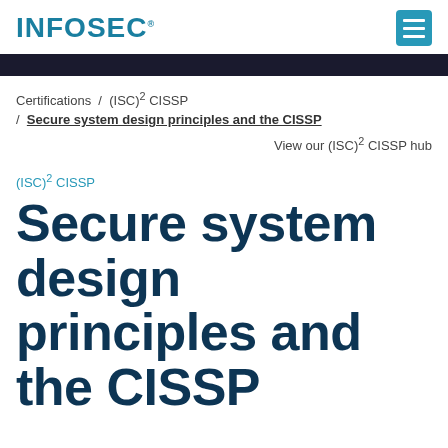INFOSEC
Certifications / (ISC)² CISSP / Secure system design principles and the CISSP
View our (ISC)² CISSP hub
(ISC)² CISSP
Secure system design principles and the CISSP